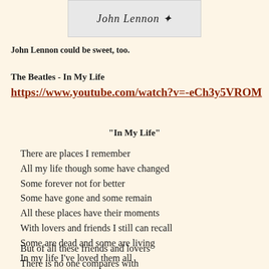[Figure (photo): A signature image showing 'John Lennon' in cursive handwriting on a light gray background]
John Lennon could be sweet, too.
The Beatles - In My Life
https://www.youtube.com/watch?v=-eCh3y5VROM
"In My Life"
There are places I remember
All my life though some have changed
Some forever not for better
Some have gone and some remain
All these places have their moments
With lovers and friends I still can recall
Some are dead and some are living
In my life I've loved them all
But of all these friends and lovers
There is no one compares with